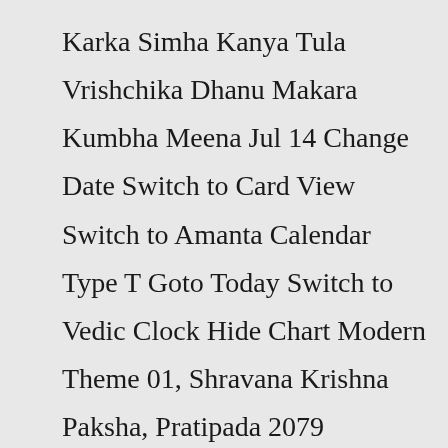Karka Simha Kanya Tula Vrishchika Dhanu Makara Kumbha Meena Jul 14 Change Date Switch to Card View Switch to Amanta Calendar Type T Goto Today Switch to Vedic Clock Hide Chart Modern Theme 01, Shravana Krishna Paksha, Pratipada 2079 Rakshasa, Vikrama Samvata Redmond, United States 14 July 20228 hours ago · Panchang is the astrological daily calendar based on the Indian calendar